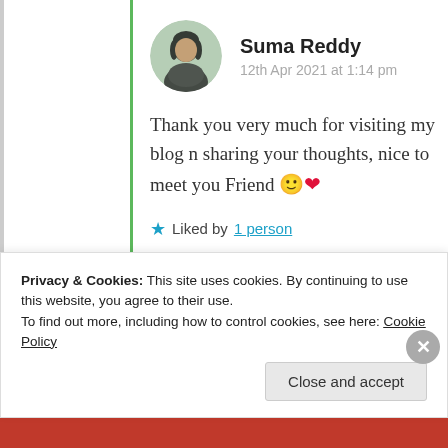Suma Reddy
12th Apr 2021 at 1:14 pm
Thank you very much for visiting my blog n sharing your thoughts, nice to meet you Friend 🙂❤️
★ Liked by 1 person
Log in to Reply
Privacy & Cookies: This site uses cookies. By continuing to use this website, you agree to their use.
To find out more, including how to control cookies, see here: Cookie Policy
Close and accept